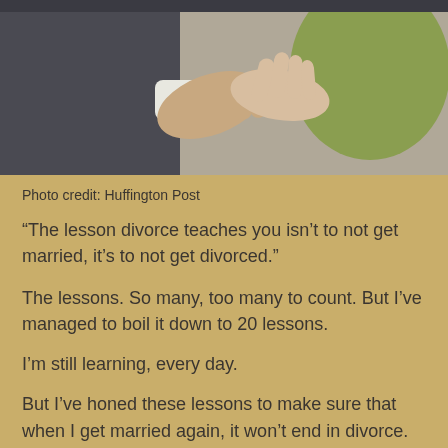[Figure (photo): Two people holding hands, one in a dark suit with white shirt cuff visible, the other in lighter clothing, with a green object in background]
Photo credit: Huffington Post
“The lesson divorce teaches you isn’t to not get married, it’s to not get divorced.”
The lessons. So many, too many to count. But I’ve managed to boil it down to 20 lessons.
I’m still learning, every day.
But I’ve honed these lessons to make sure that when I get married again, it won’t end in divorce.